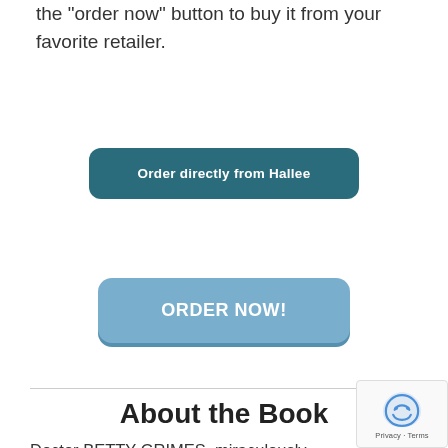the "order now" button to buy it from your favorite retailer.
Order directly from Hallee
ORDER NOW!
About the Book
Doctor BETTY GRIMES, miraculously survives the Nazi bombing of her hospital but suffers the loss of her fi the raid. She goes to the countryside to grieve and recuperate and there meets the leader of the Virtues team